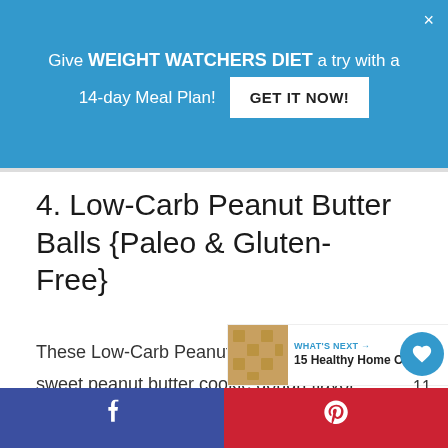Give WEIGHT WATCHERS DIET a try with a 14-day Meal Plan! GET IT NOW!
4. Low-Carb Peanut Butter Balls {Paleo & Gluten-Free}
These Low-Carb Peanut Butter Balls have a sweet peanut butter cookie dough flavor that melts in your mouth AND can be made in just one bowl in a matter of minutes! Plus, they are gluten-free and can be made Paleo compliant!
11
WHAT'S NEXT → 15 Healthy Home Office...
f  p